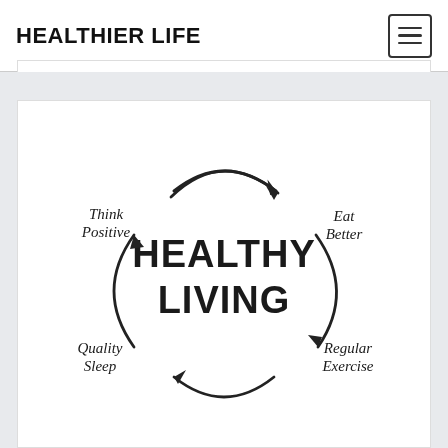HEALTHIER LIFE
[Figure (infographic): Circular infographic showing 'Healthy Living' in the center with four surrounding concepts connected by curved arrows: Think Positive (top-left), Eat Better (top-right), Regular Exercise (bottom-right), Quality Sleep (bottom-left). Hand-drawn sketch style.]